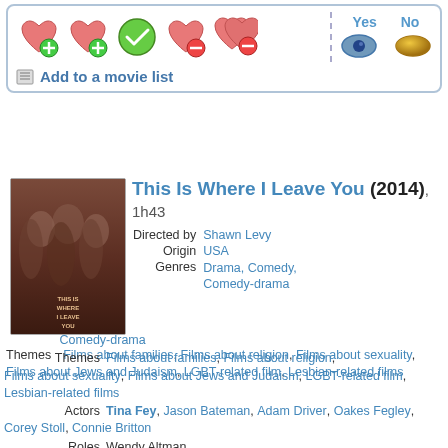[Figure (screenshot): Top bar with heart/rating icons and Yes/No eye/pill icons, plus Add to a movie list link]
This Is Where I Leave You (2014), 1h43
Directed by  Shawn Levy
Origin  USA
Genres  Drama, Comedy, Comedy-drama
Themes  Films about families, Films about religion, Films about sexuality, Films about Jews and Judaism, LGBT-related film, Lesbian-related films
Actors  Tina Fey, Jason Bateman, Adam Driver, Oakes Fegley, Corey Stoll, Connie Britton
Roles  Wendy Altman
Rating  65% ★★★☆☆
Judd Altman (Jason Bateman) finds out his wife Quin (Abigail Spencer) has been cheating on